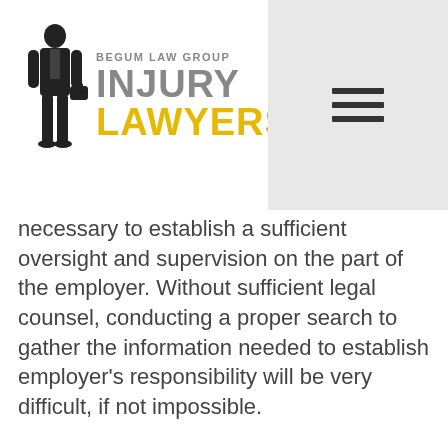[Figure (logo): Begum Law Group Injury Lawyers logo with silhouette of businessman in suit holding briefcase, text 'BEGUM LAW GROUP' above 'INJURY' in gray and 'LAWYERS' in yellow/gold]
necessary to establish a sufficient oversight and supervision on the part of the employer. Without sufficient legal counsel, conducting a proper search to gather the information needed to establish employer's responsibility will be very difficult, if not impossible.
Can I sue the truck's manufacturer?
In some cases, it may be possible to sue the manufacturer of the truck or of a component of the truck, provided that you can prove that the accident was sufficiently caused by some kind of mechanical failure.